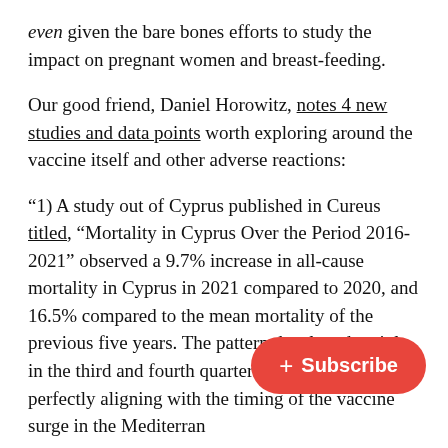even given the bare bones efforts to study the impact on pregnant women and breast-feeding.
Our good friend, Daniel Horowitz, notes 4 new studies and data points worth exploring around the vaccine itself and other adverse reactions:
‘1) A study out of Cyprus published in Cureus titled, “Mortality in Cyprus Over the Period 2016-2021” observed a 9.7% increase in all-cause mortality in Cyprus in 2021 compared to 2020, and 16.5% compared to the mean mortality of the previous five years. The pattern developed mainly in the third and fourth quarters of last year, perfectly aligning with the timing of the vaccine surge in the Mediterran…”
‘2) MIT and Israeli researchers studi… cardiac-related ambulance calls in Israel in 2019 (pre-